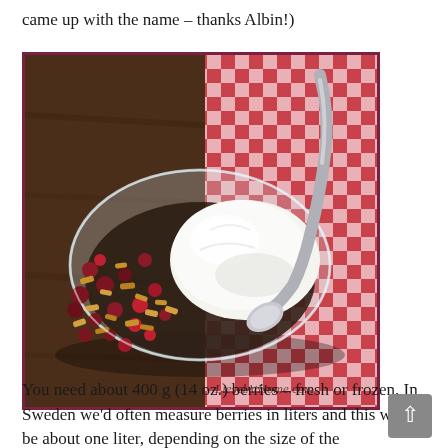came up with the name – thanks Albin!)
[Figure (photo): A glass bowl filled with berry crumble topped with a scoop of whipped cream, placed on a red and white gingham checkered cloth with a metal spoon beside it. A watermark reads 'LieselAtHome.com'.]
You need about 400 g (14 oz.) berries – fresh or frozen. In Sweden we'd often measure berries in liters and this would be about one liter, depending on the size of the